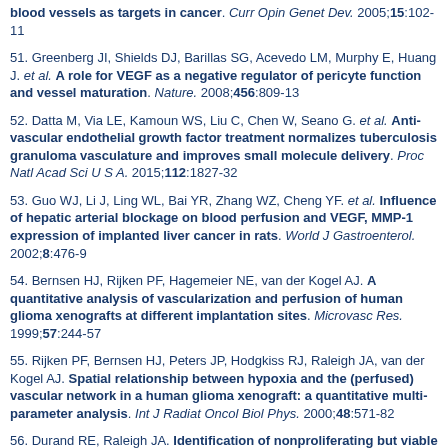blood vessels as targets in cancer. Curr Opin Genet Dev. 2005;15:102-11
51. Greenberg JI, Shields DJ, Barillas SG, Acevedo LM, Murphy E, Huang J. et al. A role for VEGF as a negative regulator of pericyte function and vessel maturation. Nature. 2008;456:809-13
52. Datta M, Via LE, Kamoun WS, Liu C, Chen W, Seano G. et al. Anti-vascular endothelial growth factor treatment normalizes tuberculosis granuloma vasculature and improves small molecule delivery. Proc Natl Acad Sci U S A. 2015;112:1827-32
53. Guo WJ, Li J, Ling WL, Bai YR, Zhang WZ, Cheng YF. et al. Influence of hepatic arterial blockage on blood perfusion and VEGF, MMP-1 expression of implanted liver cancer in rats. World J Gastroenterol. 2002;8:476-9
54. Bernsen HJ, Rijken PF, Hagemeier NE, van der Kogel AJ. A quantitative analysis of vascularization and perfusion of human glioma xenografts at different implantation sites. Microvasc Res. 1999;57:244-57
55. Rijken PF, Bernsen HJ, Peters JP, Hodgkiss RJ, Raleigh JA, van der Kogel AJ. Spatial relationship between hypoxia and the (perfused) vascular network in a human glioma xenograft: a quantitative multi-parameter analysis. Int J Radiat Oncol Biol Phys. 2000;48:571-82
56. Durand RE, Raleigh JA. Identification of nonproliferating but viable hypoxic tumor cells in vivo. Cancer Res. 1998;58:3547-50
57. Han X, Li Y, Xu Y, Zhao X, Zhang Y, Yang X. et al. Reversal of